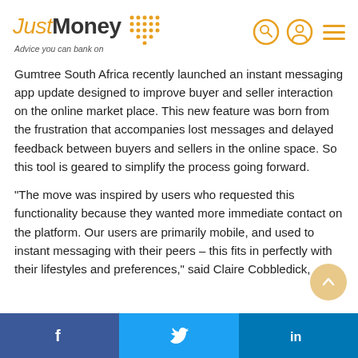JustMoney — Advice you can bank on
Gumtree South Africa recently launched an instant messaging app update designed to improve buyer and seller interaction on the online market place. This new feature was born from the frustration that accompanies lost messages and delayed feedback between buyers and sellers in the online space. So this tool is geared to simplify the process going forward.
"The move was inspired by users who requested this functionality because they wanted more immediate contact on the platform. Our users are primarily mobile, and used to instant messaging with their peers – this fits in perfectly with their lifestyles and preferences," said Claire Cobbledick,
f  [Twitter bird]  in